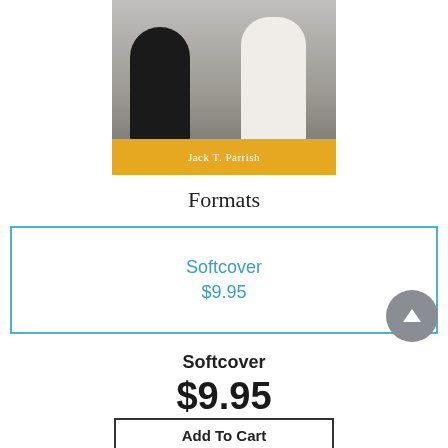[Figure (illustration): Book cover showing two figures (one in black, one in white robes) with a golden banner at the bottom reading 'Jack T. Parrish']
Formats
Softcover
$9.95
Softcover
$9.95
Add To Cart